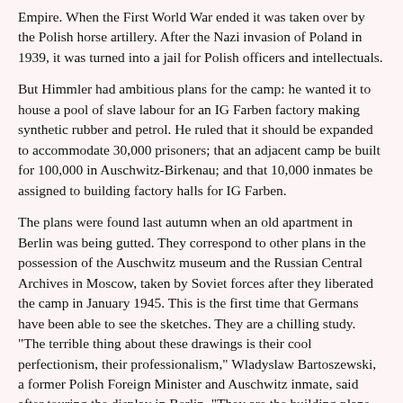Empire. When the First World War ended it was taken over by the Polish horse artillery. After the Nazi invasion of Poland in 1939, it was turned into a jail for Polish officers and intellectuals.
But Himmler had ambitious plans for the camp: he wanted it to house a pool of slave labour for an IG Farben factory making synthetic rubber and petrol. He ruled that it should be expanded to accommodate 30,000 prisoners; that an adjacent camp be built for 100,000 in Auschwitz-Birkenau; and that 10,000 inmates be assigned to building factory halls for IG Farben.
The plans were found last autumn when an old apartment in Berlin was being gutted. They correspond to other plans in the possession of the Auschwitz museum and the Russian Central Archives in Moscow, taken by Soviet forces after they liberated the camp in January 1945. This is the first time that Germans have been able to see the sketches. They are a chilling study. "The terrible thing about these drawings is their cool perfectionism, their professionalism," Wladyslaw Bartoszewski, a former Polish Foreign Minister and Auschwitz inmate, said after touring the display in Berlin. "They are the building plans for a real, rather than mythical, Hell on Earth."
The sketches, made by a Polish technical draughtsman who was also an Auschwitz prisoner, were prepared in November 1941, after the first prisoners had come under the orders of Zablo Brandof